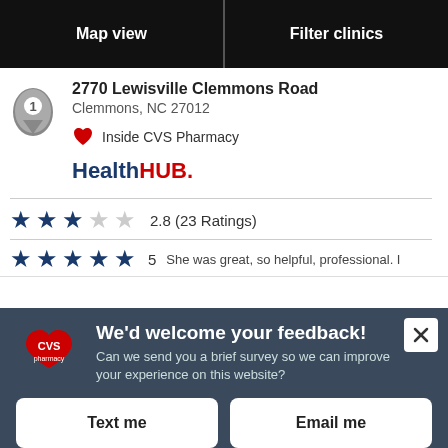Map view
Filter clinics
2770 Lewisville Clemmons Road
Clemmons, NC 27012
Inside CVS Pharmacy
[Figure (logo): HealthHUB logo in dark blue and red]
2.8 (23 Ratings)
5  She was great, so helpful, professional. I
We'd welcome your feedback! Can we send you a brief survey so we can improve your experience on this website?
Text me
Email me
Powered by Verint Experience Cloud